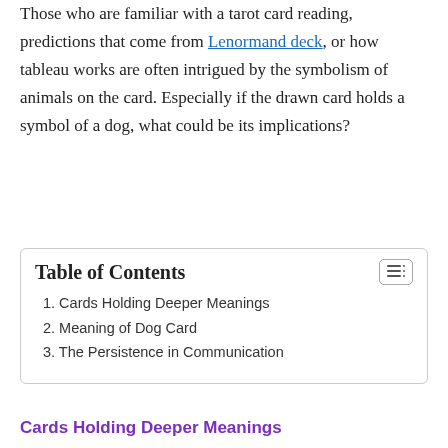Those who are familiar with a tarot card reading, predictions that come from Lenormand deck, or how tableau works are often intrigued by the symbolism of animals on the card. Especially if the drawn card holds a symbol of a dog, what could be its implications?
| Table of Contents |
| --- |
| 1. Cards Holding Deeper Meanings |
| 2. Meaning of Dog Card |
| 3. The Persistence in Communication |
Cards Holding Deeper Meanings